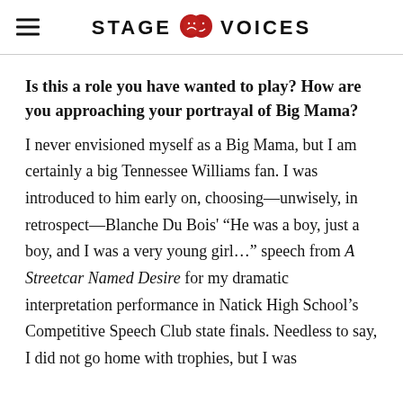STAGE VOICES
Is this a role you have wanted to play? How are you approaching your portrayal of Big Mama?
I never envisioned myself as a Big Mama, but I am certainly a big Tennessee Williams fan. I was introduced to him early on, choosing—unwisely, in retrospect—Blanche Du Bois' “He was a boy, just a boy, and I was a very young girl…” speech from A Streetcar Named Desire for my dramatic interpretation performance in Natick High School’s Competitive Speech Club state finals. Needless to say, I did not go home with trophies, but I was